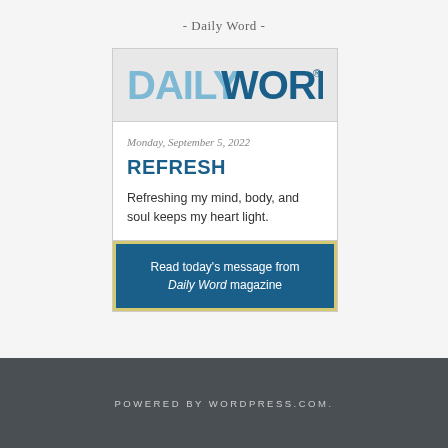- Daily Word -
[Figure (logo): Daily Word logo in blue and teal text with registered trademark symbol]
Monday, September 5, 2022
REFRESH
Refreshing my mind, body, and soul keeps my heart light.
Read today's message from Daily Word magazine
POWERED BY WORDPRESS.COM.